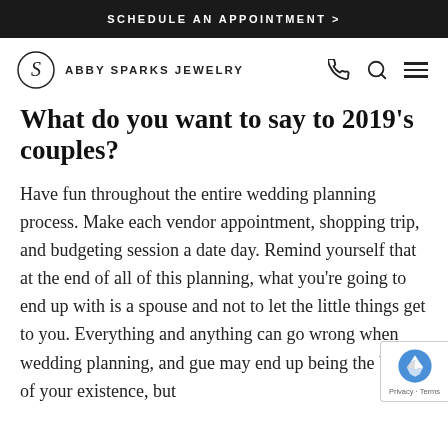SCHEDULE AN APPOINTMENT >
[Figure (logo): Abby Sparks Jewelry logo with circular S emblem and brand name, plus phone, search, and hamburger menu icons]
What do you want to say to 2019's couples?
Have fun throughout the entire wedding planning process. Make each vendor appointment, shopping trip, and budgeting session a date day. Remind yourself that at the end of all of this planning, what you're going to end up with is a spouse and not to let the little things get to you. Everything and anything can go wrong when wedding planning, and gue may end up being the bane of your existence, but